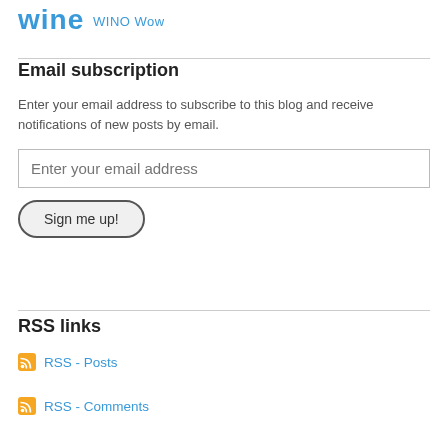wine WINO Wow
Email subscription
Enter your email address to subscribe to this blog and receive notifications of new posts by email.
Enter your email address
Sign me up!
RSS links
RSS - Posts
RSS - Comments